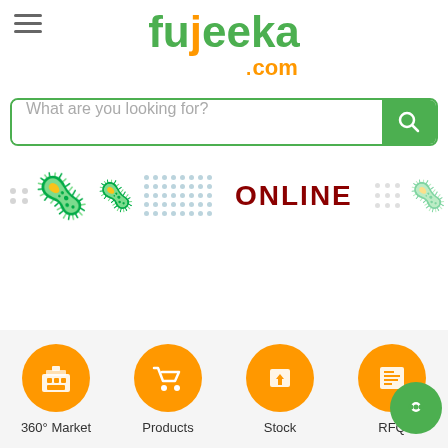[Figure (logo): Fujeeka.com logo with green text and orange dot/com]
[Figure (screenshot): Search bar with placeholder text 'What are you looking for?' and green search button]
[Figure (infographic): Banner strip with virus icons and ONLINE text in dark red with dot grid patterns]
[Figure (infographic): Bottom navigation bar with four orange circle icons: 360 Market, Products, Stock, RFQ, and a green chat bubble]